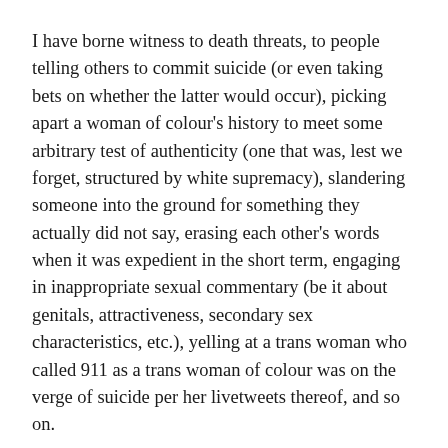I have borne witness to death threats, to people telling others to commit suicide (or even taking bets on whether the latter would occur), picking apart a woman of colour's history to meet some arbitrary test of authenticity (one that was, lest we forget, structured by white supremacy), slandering someone into the ground for something they actually did not say, erasing each other's words when it was expedient in the short term, engaging in inappropriate sexual commentary (be it about genitals, attractiveness, secondary sex characteristics, etc.), yelling at a trans woman who called 911 as a trans woman of colour was on the verge of suicide per her livetweets thereof, and so on.
These are all things we have done to each other. And sorting this out is a discussion worth having. It is still a discussion worth having, and discussing this is not